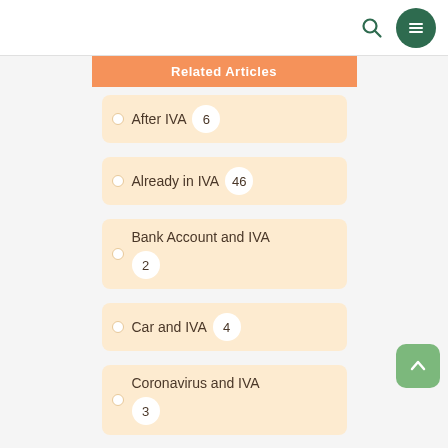Navigation bar with search and menu icons
Related Articles
After IVA 6
Already in IVA 46
Bank Account and IVA 2
Car and IVA 4
Coronavirus and IVA 3
HMRC and IVA 6